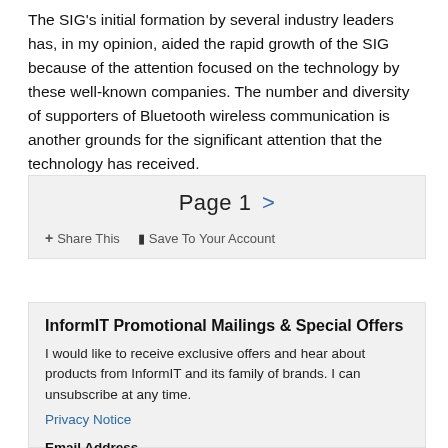The SIG's initial formation by several industry leaders has, in my opinion, aided the rapid growth of the SIG because of the attention focused on the technology by these well-known companies. The number and diversity of supporters of Bluetooth wireless communication is another grounds for the significant attention that the technology has received.
Page 1 >
+ Share This  ▮ Save To Your Account
InformIT Promotional Mailings & Special Offers
I would like to receive exclusive offers and hear about products from InformIT and its family of brands. I can unsubscribe at any time.
Privacy Notice
Email Address